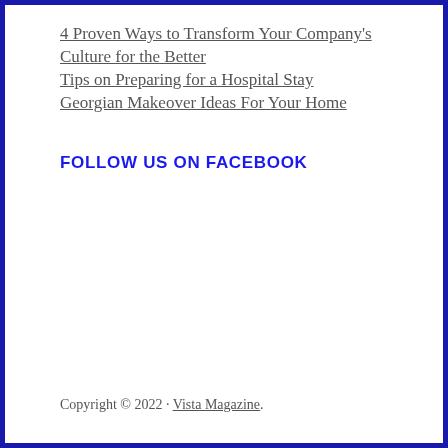4 Proven Ways to Transform Your Company's Culture for the Better
Tips on Preparing for a Hospital Stay
Georgian Makeover Ideas For Your Home
FOLLOW US ON FACEBOOK
Copyright © 2022 · Vista Magazine.